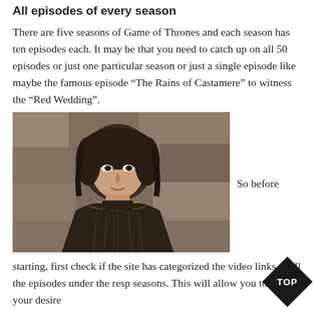All episodes of every season
There are five seasons of Game of Thrones and each season has ten episodes each. It may be that you need to catch up on all 50 episodes or just one particular season or just a single episode like maybe the famous episode “The Rains of Castamere” to witness the “Red Wedding”.
[Figure (photo): A young person with dark hair wearing medieval-style dark clothing, looking intensely at the camera. Stone wall background. Appears to be Arya Stark from Game of Thrones.]
So before starting, first check if the site has categorized the video links to all the episodes under the resp seasons. This will allow you to watch your desire